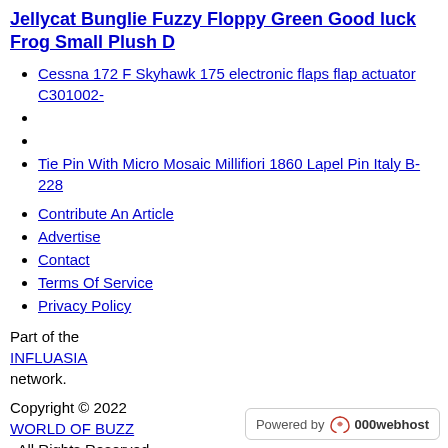Jellycat Bunglie Fuzzy Floppy Green Good luck Frog Small Plush D
Cessna 172 F Skyhawk 175 electronic flaps flap actuator C301002-
Tie Pin With Micro Mosaic Millifiori 1860 Lapel Pin Italy B-228
Contribute An Article
Advertise
Contact
Terms Of Service
Privacy Policy
Part of the INFLUASIA network.
Copyright © 2022 WORLD OF BUZZ . All Rights Reserved.